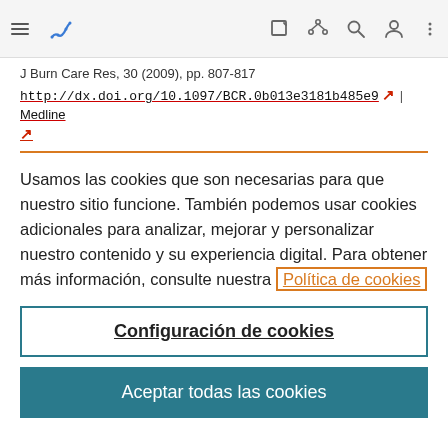[Figure (screenshot): Navigation bar with hamburger menu, bookmark icon (blue), edit icon, share icon, search icon, person icon, and more options icon]
J Burn Care Res, 30 (2009), pp. 807-817
http://dx.doi.org/10.1097/BCR.0b013e3181b485e9 ↗ | Medline ↗
Usamos las cookies que son necesarias para que nuestro sitio funcione. También podemos usar cookies adicionales para analizar, mejorar y personalizar nuestro contenido y su experiencia digital. Para obtener más información, consulte nuestra Política de cookies
Configuración de cookies
Aceptar todas las cookies